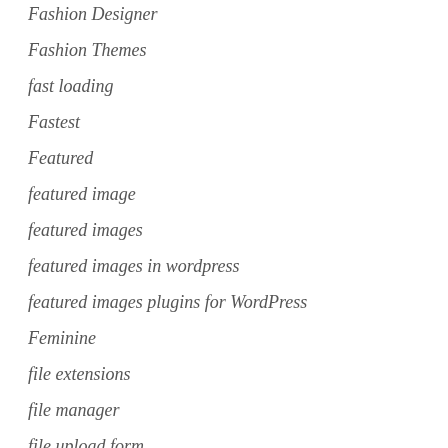Fashion Designer
Fashion Themes
fast loading
Fastest
Featured
featured image
featured images
featured images in wordpress
featured images plugins for WordPress
Feminine
file extensions
file manager
file upload form